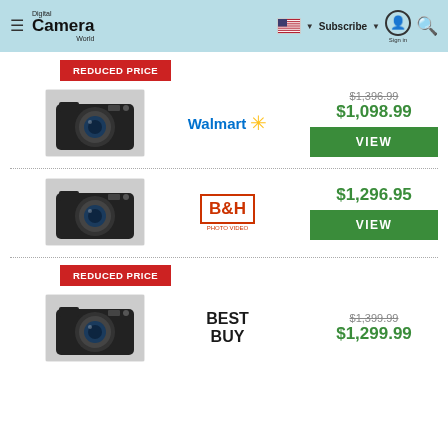Digital Camera World — Subscribe | Sign in | Search
REDUCED PRICE
[Figure (photo): Nikon mirrorless camera body (black), front view]
Walmart
$1,396.99 (strikethrough) $1,098.99
VIEW
[Figure (photo): Nikon mirrorless camera body (black), front view]
B&H
$1,296.95
VIEW
REDUCED PRICE
[Figure (photo): Nikon mirrorless camera body (black), front view]
BEST BUY
$1,399.99 (strikethrough) $1,299.99